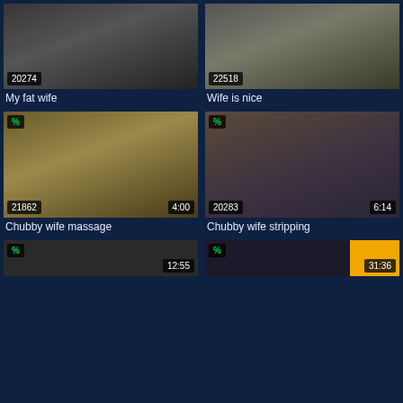[Figure (screenshot): Video thumbnail grid showing adult video titles with view counts and durations]
My fat wife
Wife is nice
Chubby wife massage
Chubby wife stripping